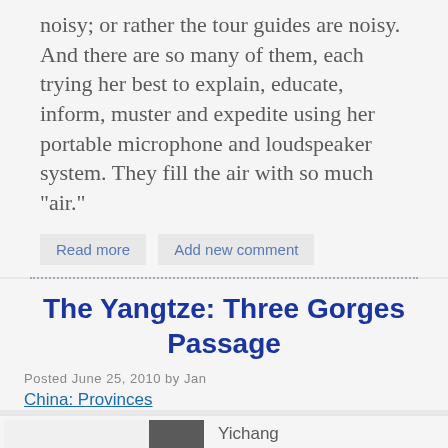noisy; or rather the tour guides are noisy. And there are so many of them, each trying her best to explain, educate, inform, muster and expedite using her portable microphone and loudspeaker system. They fill the air with so much "air."
Read more
Add new comment
The Yangtze: Three Gorges Passage
Posted June 25, 2010 by Jan
China: Provinces
[Figure (photo): Partially visible photo, mostly white/grey with a dark patch at upper right]
Yichang
Hubei Province
People's Republic of China

June 25, 2010

My Dear Cruise Aficionados